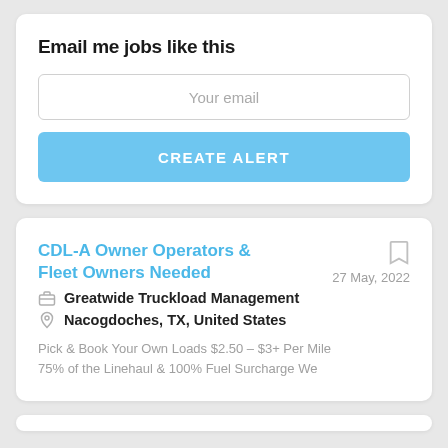Email me jobs like this
Your email
CREATE ALERT
CDL-A Owner Operators & Fleet Owners Needed
27 May, 2022
Greatwide Truckload Management
Nacogdoches, TX, United States
Pick & Book Your Own Loads $2.50 – $3+ Per Mile 75% of the Linehaul & 100% Fuel Surcharge We